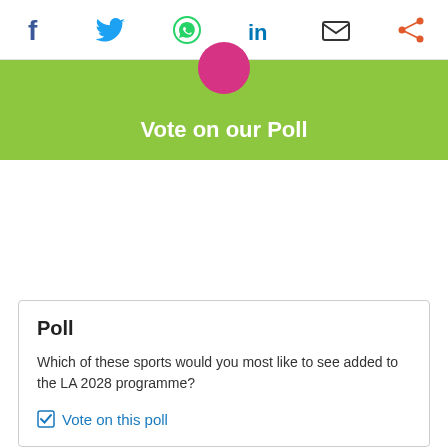[Figure (infographic): Social sharing icons row: Facebook (blue f), Twitter (blue bird), WhatsApp (green phone), LinkedIn (blue in), Email (envelope), Share (orange nodes)]
[Figure (infographic): Green banner with pink circle at top and white bold text 'Vote on our Poll']
Poll
Which of these sports would you most like to see added to the LA 2028 programme?
Vote on this poll